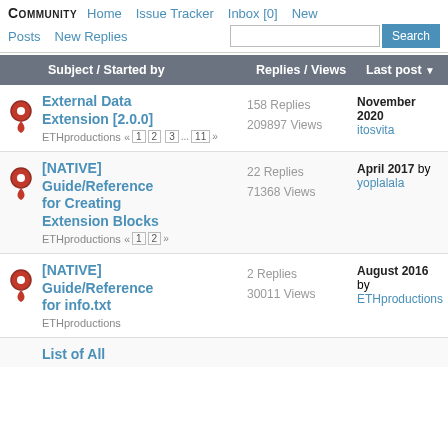COMMUNITY  Home  Issue Tracker  Inbox [0]  New  Posts  New Replies  Search
| Subject / Started by | Replies / Views | Last post |
| --- | --- | --- |
| External Data Extension [2.0.0] — ETHproductions « 1 2 3 ... 11 » | 158 Replies
209897 Views | November 2020
itosvita |
| [NATIVE] Guide/Reference for Creating Extension Blocks — ETHproductions « 1 2 » | 22 Replies
71368 Views | April 2017 by yoplalala |
| [NATIVE] Guide/Reference for info.txt — ETHproductions | 2 Replies
30011 Views | August 2016 by ETHproductions |
| List of All |  |  |